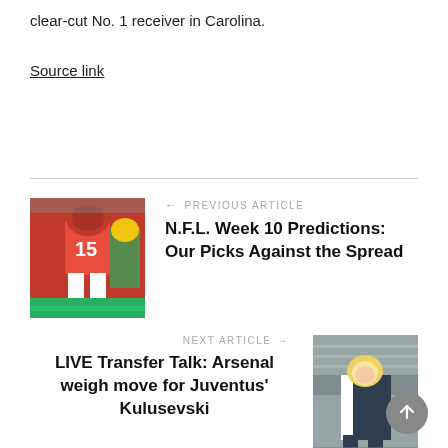clear-cut No. 1 receiver in Carolina.
Source link
[Figure (photo): Football player wearing jersey number 15 in red uniform (Kansas City Chiefs), with a Green Bay Packers player in background]
← PREVIOUS ARTICLE
N.F.L. Week 10 Predictions: Our Picks Against the Spread
NEXT ARTICLE →
LIVE Transfer Talk: Arsenal weigh move for Juventus' Kulusevski
[Figure (photo): Soccer player in dark uniform on field with crowd in background]